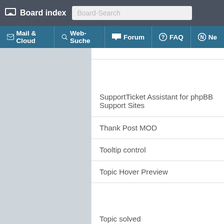Board index | Board-Search
Mail & Cloud | Web-Suche | Forum | FAQ | Ne...
SupportTicket Assistant for phpBB Support Sites
Thank Post MOD
Tooltip control
Topic Hover Preview
Topic solved